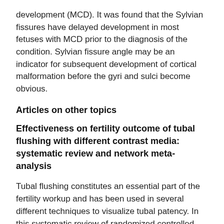development (MCD). It was found that the Sylvian fissures have delayed development in most fetuses with MCD prior to the diagnosis of the condition. Sylvian fissure angle may be an indicator for subsequent development of cortical malformation before the gyri and sulci become obvious.
Articles on other topics
Effectiveness on fertility outcome of tubal flushing with different contrast media: systematic review and network meta-analysis
Tubal flushing constitutes an essential part of the fertility workup and has been used in several different techniques to visualize tubal patency. In this systematic review of randomized controlled trials, Wang et al.